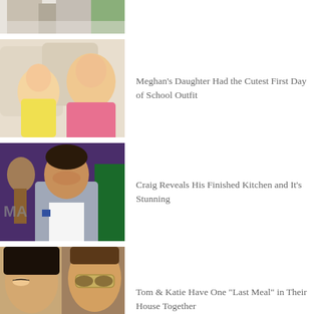[Figure (photo): Partial view of people, cropped at top of page]
[Figure (photo): Woman in pink sweatshirt cuddling with a young girl on a couch]
Meghan's Daughter Had the Cutest First Day of School Outfit
[Figure (photo): Man in grey blazer smiling, purple studio background]
Craig Reveals His Finished Kitchen and It's Stunning
[Figure (photo): Two people side by side, woman with dark hair, man with sunglasses]
Tom & Katie Have One "Last Meal" in Their House Together